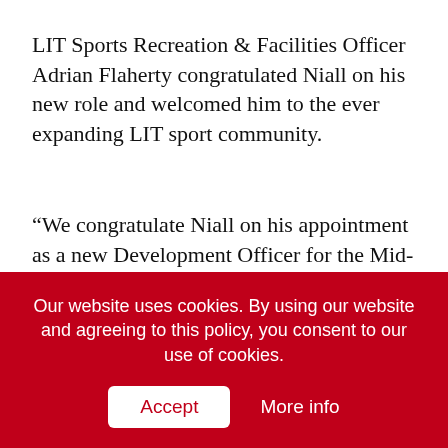LIT Sports Recreation & Facilities Officer Adrian Flaherty congratulated Niall on his new role and welcomed him to the ever expanding LIT sport community.
“We congratulate Niall on his appointment as a new Development Officer for the Mid-West area. We look forward to working with both Niall and Basketball Ireland in our new partnership, which will be focused on growing basketball in the mid-west region,” he said.
Our website uses cookies. By using our website and agreeing to this policy, you consent to our use of cookies.
Accept
More info